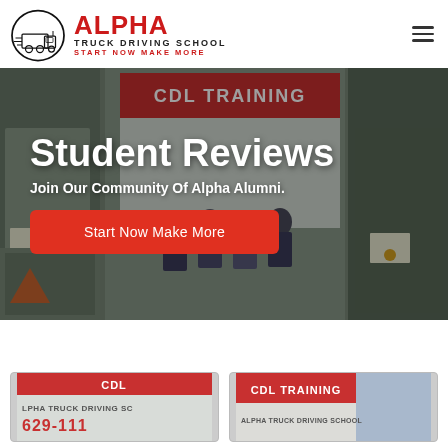[Figure (logo): Alpha Truck Driving School logo with truck icon in circle, red ALPHA text, TRUCK DRIVING SCHOOL subtitle, START NOW MAKE MORE tagline]
Student Reviews
Join Our Community Of Alpha Alumni.
Start Now Make More
[Figure (photo): Photo thumbnail of Alpha Truck Driving School sign with phone number 629-111]
[Figure (photo): Photo thumbnail showing CDL Training sign and Alpha Truck Driving School building]